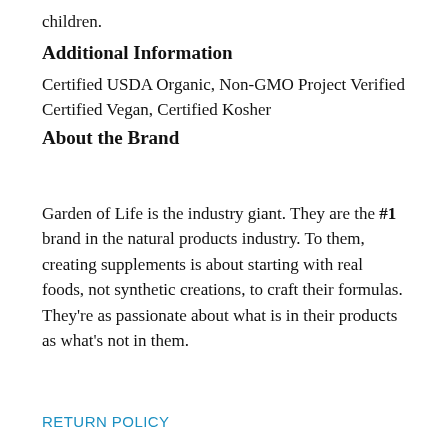children.
Additional Information
Certified USDA Organic, Non-GMO Project Verified
Certified Vegan, Certified Kosher
About the Brand
Garden of Life is the industry giant. They are the #1 brand in the natural products industry. To them, creating supplements is about starting with real foods, not synthetic creations, to craft their formulas. They're as passionate about what is in their products as what's not in them.
RETURN POLICY